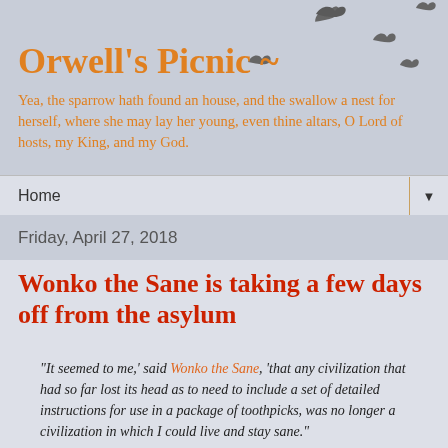Orwell's Picnic ~
Yea, the sparrow hath found an house, and the swallow a nest for herself, where she may lay her young, even thine altars, O Lord of hosts, my King, and my God.
Home ▼
Friday, April 27, 2018
Wonko the Sane is taking a few days off from the asylum
“It seemed to me,' said Wonko the Sane, 'that any civilization that had so far lost its head as to need to include a set of detailed instructions for use in a package of toothpicks, was no longer a civilization in which I could live and stay sane."
 Douglas Adams, So Long, and Thanks for All